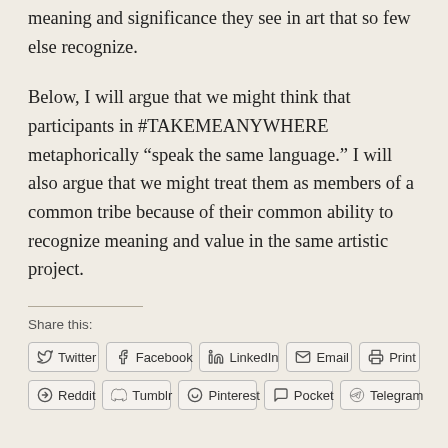meaning and significance they see in art that so few else recognize.
Below, I will argue that we might think that participants in #TAKEMEANYWHERE metaphorically “speak the same language.” I will also argue that we might treat them as members of a common tribe because of their common ability to recognize meaning and value in the same artistic project.
Share this:
Twitter | Facebook | LinkedIn | Email | Print | Reddit | Tumblr | Pinterest | Pocket | Telegram